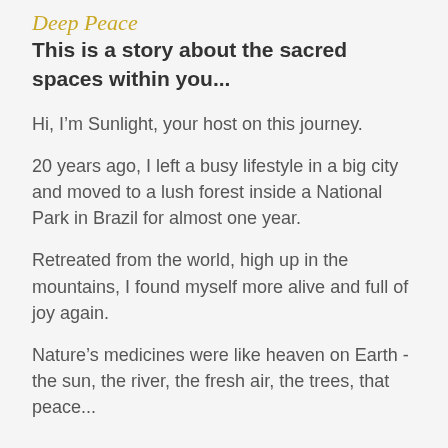Deep Peace
This is a story about the sacred spaces within you...
Hi, I’m Sunlight, your host on this journey.
20 years ago, I left a busy lifestyle in a big city and moved to a lush forest inside a National Park in Brazil for almost one year.
Retreated from the world, high up in the mountains, I found myself more alive and full of joy again.
Nature’s medicines were like heaven on Earth - the sun, the river, the fresh air, the trees, that peace...